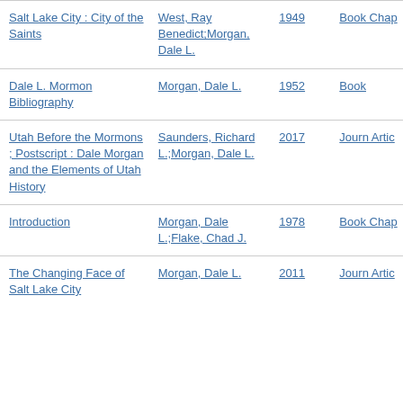| Title | Author | Year | Type |
| --- | --- | --- | --- |
| Salt Lake City : City of the Saints | West, Ray Benedict;Morgan, Dale L. | 1949 | Book Chap… |
| Dale L. Mormon Bibliography | Morgan, Dale L. | 1952 | Book… |
| Utah Before the Mormons ; Postscript : Dale Morgan and the Elements of Utah History | Saunders, Richard L.;Morgan, Dale L. | 2017 | Journ… Artic… |
| Introduction | Morgan, Dale L.;Flake, Chad J. | 1978 | Book Chap… |
| The Changing Face of Salt Lake City | Morgan, Dale L. | 2011 | Journ… Artic… |